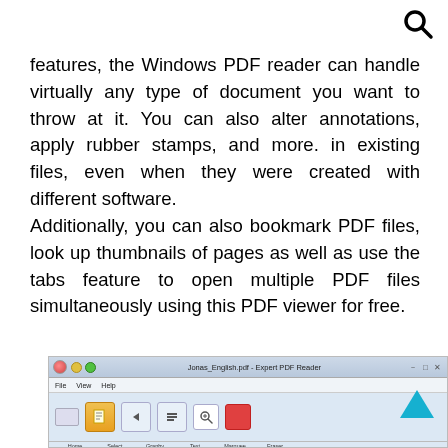[Figure (other): Search magnifying glass icon in top right corner]
features, the Windows PDF reader can handle virtually any type of document you want to throw at it. You can also alter annotations, apply rubber stamps, and more. in existing files, even when they were created with different software. Additionally, you can also bookmark PDF files, look up thumbnails of pages as well as use the tabs feature to open multiple PDF files simultaneously using this PDF viewer for free.
[Figure (screenshot): Screenshot of Expert PDF Reader application showing title bar with 'Jonas_English.pdf - Expert PDF Reader', menu bar with File, View, Help options, and toolbar with various tool icons]